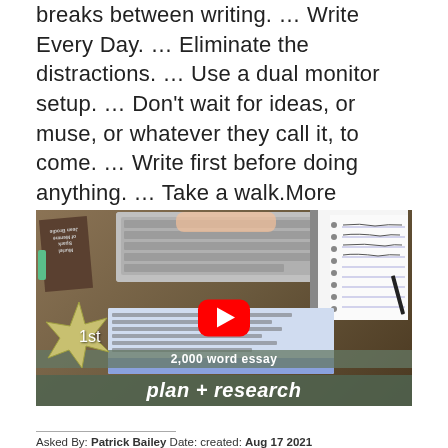breaks between writing. … Write Every Day. … Eliminate the distractions. … Use a dual monitor setup. … Don't wait for ideas, or muse, or whatever they call it, to come. … Write first before doing anything. … Take a walk.More items…
[Figure (screenshot): YouTube video thumbnail showing a person working at a laptop with a notebook, titled '2,000 word essay plan + research' with a '1st' starburst badge and a YouTube play button.]
Asked By: Patrick Bailey  Date: created: Aug 17 2021